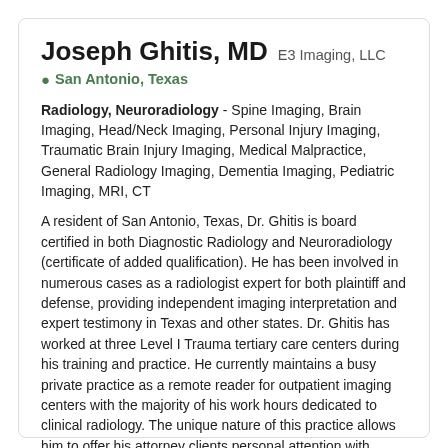Joseph Ghitis, MD E3 Imaging, LLC
San Antonio, Texas
Radiology, Neuroradiology - Spine Imaging, Brain Imaging, Head/Neck Imaging, Personal Injury Imaging, Traumatic Brain Injury Imaging, Medical Malpractice, General Radiology Imaging, Dementia Imaging, Pediatric Imaging, MRI, CT
A resident of San Antonio, Texas, Dr. Ghitis is board certified in both Diagnostic Radiology and Neuroradiology (certificate of added qualification). He has been involved in numerous cases as a radiologist expert for both plaintiff and defense, providing independent imaging interpretation and expert testimony in Texas and other states. Dr. Ghitis has worked at three Level I Trauma tertiary care centers during his training and practice. He currently maintains a busy private practice as a remote reader for outpatient imaging centers with the majority of his work hours dedicated to clinical radiology. The unique nature of this practice allows him to offer his attorney clients personal attention with unparalleled availability, a fast turnaround